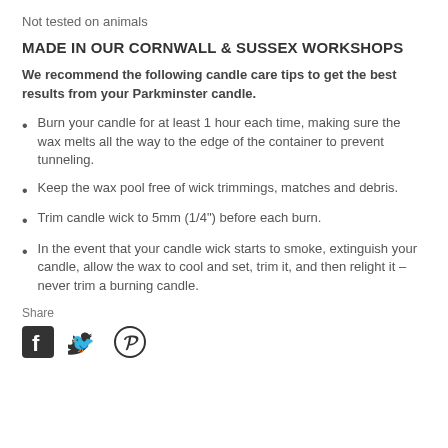Not tested on animals
MADE IN OUR CORNWALL & SUSSEX WORKSHOPS
We recommend the following candle care tips to get the best results from your Parkminster candle.
Burn your candle for at least 1 hour each time, making sure the wax melts all the way to the edge of the container to prevent tunneling.
Keep the wax pool free of wick trimmings, matches and debris.
Trim candle wick to 5mm (1/4") before each burn.
In the event that your candle wick starts to smoke, extinguish your candle, allow the wax to cool and set, trim it, and then relight it – never trim a burning candle.
Share
[Figure (other): Social media share icons: Facebook, Twitter, Pinterest]